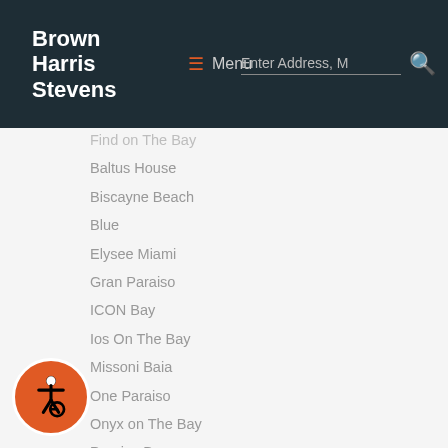Brown Harris Stevens — Navigation bar with Menu and Search
Find on The Bay
Baltus House
Biscayne Beach
Blue
Elysee Miami
Gran Paraiso
ICON Bay
Ios On The Bay
Missoni Baia
One Paraiso
Onyx on The Bay
Paraiso Bay
Paraiso Bayviews
Paramount Bay
Quantum on The Bay
Miami - Midtown and Wynwood
our Midtown
le Midtown Miami
Midtown Midblock